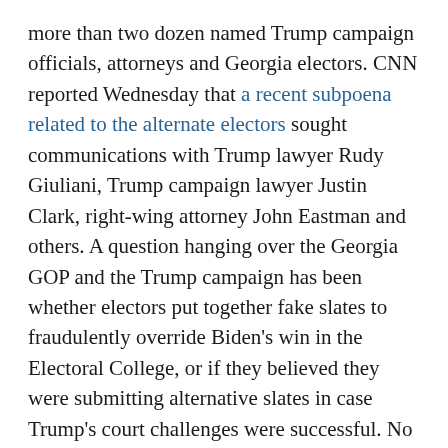more than two dozen named Trump campaign officials, attorneys and Georgia electors. CNN reported Wednesday that a recent subpoena related to the alternate electors sought communications with Trump lawyer Rudy Giuliani, Trump campaign lawyer Justin Clark, right-wing attorney John Eastman and others. A question hanging over the Georgia GOP and the Trump campaign has been whether electors put together fake slates to fraudulently override Biden's win in the Electoral College, or if they believed they were submitting alternative slates in case Trump's court challenges were successful. No court allowed Trump to overturn election results.
A spokesman for Trump did not respond to a request for comment.